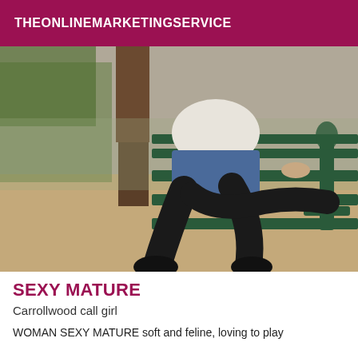THEONLINEMARKETINGSERVICE
[Figure (photo): Photo of a woman in a denim skirt and black stockings sitting on a green ornate park bench, outdoors in a park setting.]
SEXY MATURE
Carrollwood call girl
WOMAN SEXY MATURE soft and feline, loving to play